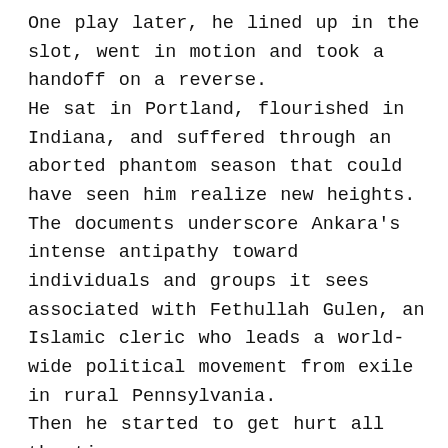One play later, he lined up in the slot, went in motion and took a handoff on a reverse. He sat in Portland, flourished in Indiana, and suffered through an aborted phantom season that could have seen him realize new heights. The documents underscore Ankara's intense antipathy toward individuals and groups it sees associated with Fethullah Gulen, an Islamic cleric who leads a world-wide political movement from exile in rural Pennsylvania. Then he started to get hurt all the time. The NCAA's deadline for men's basketball student-athletes to withdraw from the NBA draft and retain their eligibility will be pushed back from the current June 3 date, Dan Gavitt, NCAA svp-basketball, said via the organization